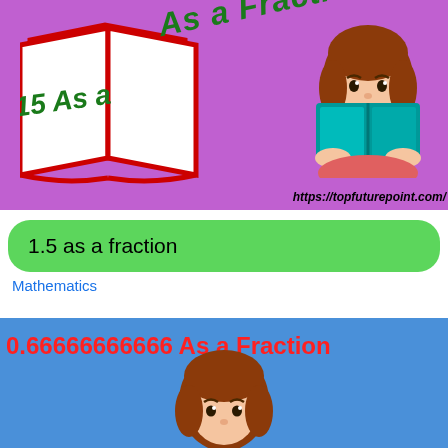[Figure (illustration): Purple background with open book icon on left with '15 As a Fraction' diagonal green text, cartoon girl reading teal book on right, URL https://topfuturepoint.com/ at bottom right]
1.5 as a fraction
Mathematics
[Figure (illustration): Blue background with '0.66666666666 As a Fraction' in red bold text at top, cartoon girl with brown hair visible from shoulders up at bottom center]